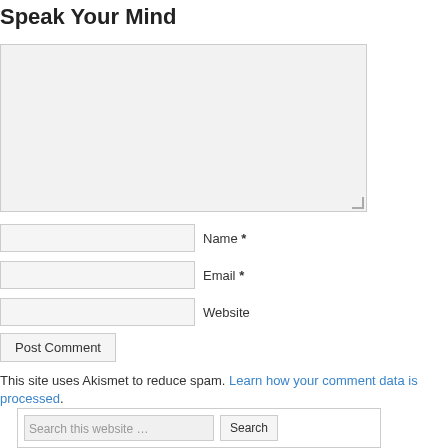Speak Your Mind
[Figure (other): Comment form textarea box (large empty input area with resize handle)]
Name *
Email *
Website
Post Comment
This site uses Akismet to reduce spam. Learn how your comment data is processed.
[Figure (other): Search box with text input labeled 'Search this website …' and a Search button]